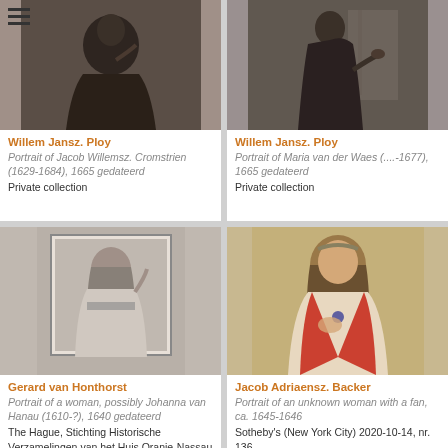[Figure (photo): Black and white portrait photograph of Jacob Willemsz. Cromstrien, top portion visible, top-left card]
Willem Jansz. Ploy
Portrait of Jacob Willemsz. Cromstrien (1629-1684), 1665 gedateerd
Private collection
[Figure (photo): Black and white portrait photograph of Maria van der Waes, top portion visible, top-right card]
Willem Jansz. Ploy
Portrait of Maria van der Waes (....-1677), 1665 gedateerd
Private collection
[Figure (photo): Black and white portrait of a woman, possibly Johanna van Hanau, bottom-left card]
Gerard van Honthorst
Portrait of a woman, possibly Johanna van Hanau (1610-?), 1640 gedateerd
The Hague, Stichting Historische Verzamelingen van het Huis Oranje-Nassau
[Figure (photo): Color portrait painting of an unknown woman with a fan, wearing red, ca. 1645-1646, bottom-right card]
Jacob Adriaensz. Backer
Portrait of an unknown woman with a fan, ca. 1645-1646
Sotheby's (New York City) 2020-10-14, nr. 136